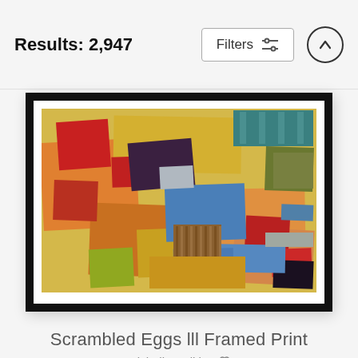Results: 2,947
[Figure (screenshot): Abstract framed print artwork titled 'Scrambled Eggs lll' by Michelle Calkins, showing colorful overlapping rectangles in yellow, orange, red, blue, and green on a yellow background, displayed in a black frame with white mat.]
Scrambled Eggs lll Framed Print
Michelle Calkins
$82